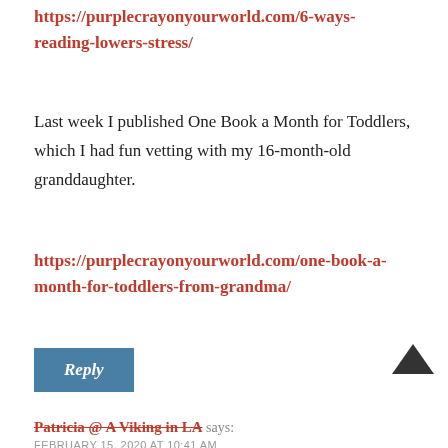https://purplecrayonyourworld.com/6-ways-reading-lowers-stress/
Last week I published One Book a Month for Toddlers, which I had fun vetting with my 16-month-old granddaughter.
https://purplecrayonyourworld.com/one-book-a-month-for-toddlers-from-grandma/
Reply
Patricia @ A Viking in LA says:
FEBRUARY 15, 2020 AT 10:41 AM
I always enjoy seeing what people are reading and recommending! For me, it's been a great start to the